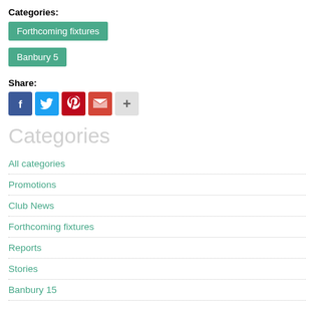Categories:
Forthcoming fixtures
Banbury 5
Share:
[Figure (infographic): Social share icons: Facebook, Twitter, Pinterest, Gmail, More]
Categories
All categories
Promotions
Club News
Forthcoming fixtures
Reports
Stories
Banbury 15